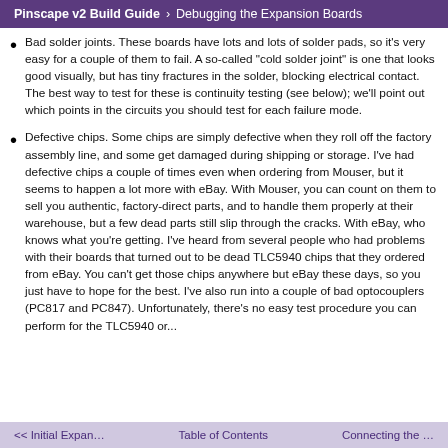Pinscape v2 Build Guide > Debugging the Expansion Boards
Bad solder joints. These boards have lots and lots of solder pads, so it's very easy for a couple of them to fail. A so-called "cold solder joint" is one that looks good visually, but has tiny fractures in the solder, blocking electrical contact. The best way to test for these is continuity testing (see below); we'll point out which points in the circuits you should test for each failure mode.
Defective chips. Some chips are simply defective when they roll off the factory assembly line, and some get damaged during shipping or storage. I've had defective chips a couple of times even when ordering from Mouser, but it seems to happen a lot more with eBay. With Mouser, you can count on them to sell you authentic, factory-direct parts, and to handle them properly at their warehouse, but a few dead parts still slip through the cracks. With eBay, who knows what you're getting. I've heard from several people who had problems with their boards that turned out to be dead TLC5940 chips that they ordered from eBay. You can't get those chips anywhere but eBay these days, so you just have to hope for the best. I've also run into a couple of bad optocouplers (PC817 and PC847). Unfortunately, there's no easy test procedure you can perform for the TLC5940 or...
<< Initial Expan...   Table of Contents   Connecting the ...